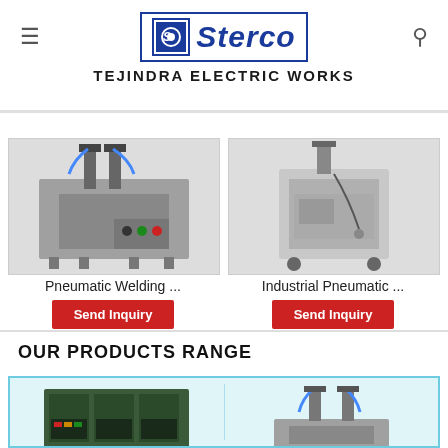[Figure (logo): Sterco / Tejindra Electric Works logo with blue bordered box, emblem and italic text]
[Figure (photo): Pneumatic Welding Machine - industrial machine with dual welding heads on metal stand with control panel]
Pneumatic Welding ...
[Figure (photo): Industrial Pneumatic Machine - grey colored industrial welding machine on wheeled stand]
Industrial Pneumatic ...
OUR PRODUCTS RANGE
[Figure (photo): Large industrial transformer/welding equipment in dark green color with control panels]
[Figure (photo): Pneumatic welding machine with dual blue-tipped welding heads, close-up view]